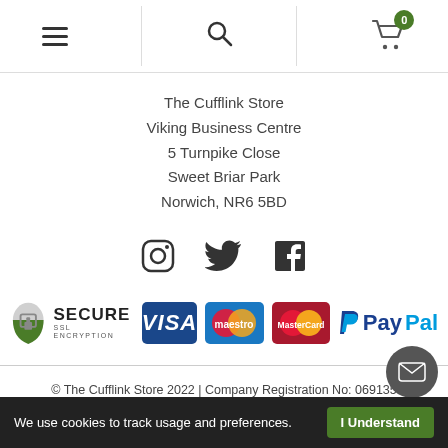[Figure (screenshot): Navigation bar with hamburger menu, search icon, and shopping cart with badge showing 0]
The Cufflink Store
Viking Business Centre
5 Turnpike Close
Sweet Briar Park
Norwich, NR6 5BD
[Figure (infographic): Social media icons: Instagram, Twitter, Facebook]
[Figure (infographic): Payment security badges: Secure SSL Encryption, Visa, Maestro, MasterCard, PayPal]
© The Cufflink Store 2022 | Company Registration No: 069135
Registered: 103 7626 36
We use cookies to track usage and preferences.  I Understand